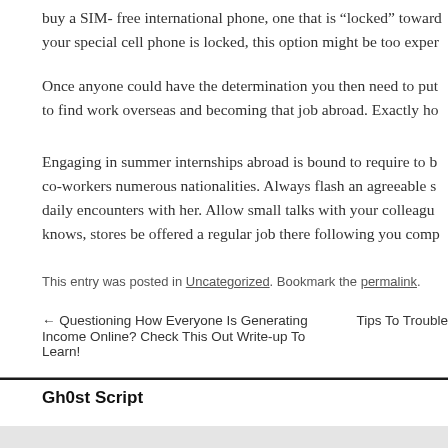buy a SIM- free international phone, one that is “locked” toward your special cell phone is locked, this option might be too exper
Once anyone could have the determination you then need to put to find work overseas and becoming that job abroad. Exactly ho
Engaging in summer internships abroad is bound to require to b co-workers numerous nationalities. Always flash an agreeable s daily encounters with her. Allow small talks with your colleagu knows, stores be offered a regular job there following you comp
This entry was posted in Uncategorized. Bookmark the permalink.
← Questioning How Everyone Is Generating Income Online? Check This Out Write-up To Learn!   Tips To Trouble
Gh0st Script